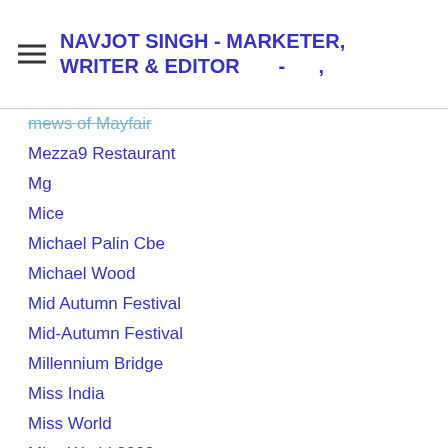NAVJOT SINGH - MARKETER, WRITER & EDITOR - ,
mews of Mayfair
Mezza9 Restaurant
Mg
Mice
Michael Palin Cbe
Michael Wood
Mid Autumn Festival
Mid-Autumn Festival
Millennium Bridge
Miss India
Miss World
Miss World 2003
Mo Farah
Money
Mongolia
Moon
Moon Cakes
Moon Hill